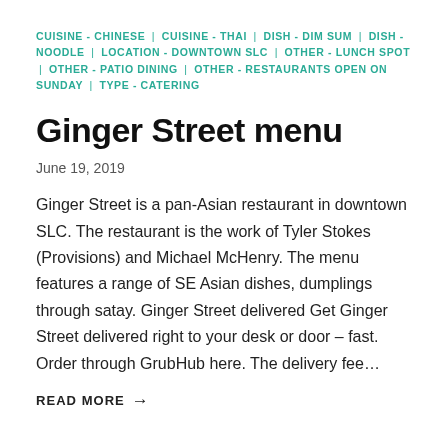CUISINE - CHINESE | CUISINE - THAI | DISH - DIM SUM | DISH - NOODLE | LOCATION - DOWNTOWN SLC | OTHER - LUNCH SPOT | OTHER - PATIO DINING | OTHER - RESTAURANTS OPEN ON SUNDAY | TYPE - CATERING
Ginger Street menu
June 19, 2019
Ginger Street is a pan-Asian restaurant in downtown SLC. The restaurant is the work of Tyler Stokes (Provisions) and Michael McHenry. The menu features a range of SE Asian dishes, dumplings through satay. Ginger Street delivered Get Ginger Street delivered right to your desk or door – fast. Order through GrubHub here. The delivery fee…
READ MORE →